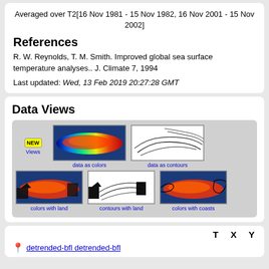Averaged over T2[16 Nov 1981 - 15 Nov 1982, 16 Nov 2001 - 15 Nov 2002]
References
R. W. Reynolds, T. M. Smith. Improved global sea surface temperature analyses.. J. Climate 7, 1994
Last updated: Wed, 13 Feb 2019 20:27:28 GMT
Data Views
[Figure (screenshot): Data Views panel showing 5 map thumbnails: 'data as colors' (color heat map), 'data as contours' (contour line map), 'colors with land', 'contours with land', 'colors with coasts'. A 'NEW Views' badge is shown on the left.]
T X Y
detrended-bfl detrended-bfl